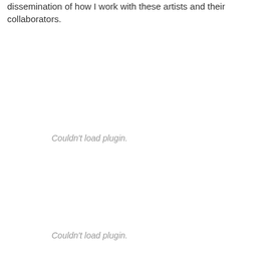dissemination of how I work with these artists and their collaborators.
[Figure (other): Couldn't load plugin. — embedded media placeholder (first)]
[Figure (other): Couldn't load plugin. — embedded media placeholder (second)]